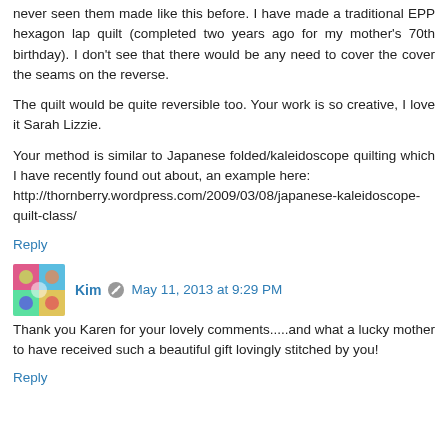never seen them made like this before. I have made a traditional EPP hexagon lap quilt (completed two years ago for my mother's 70th birthday). I don't see that there would be any need to cover the cover the seams on the reverse.
The quilt would be quite reversible too. Your work is so creative, I love it Sarah Lizzie.
Your method is similar to Japanese folded/kaleidoscope quilting which I have recently found out about, an example here: http://thornberry.wordpress.com/2009/03/08/japanese-kaleidoscope-quilt-class/
Reply
Kim  May 11, 2013 at 9:29 PM
Thank you Karen for your lovely comments.....and what a lucky mother to have received such a beautiful gift lovingly stitched by you!
Reply